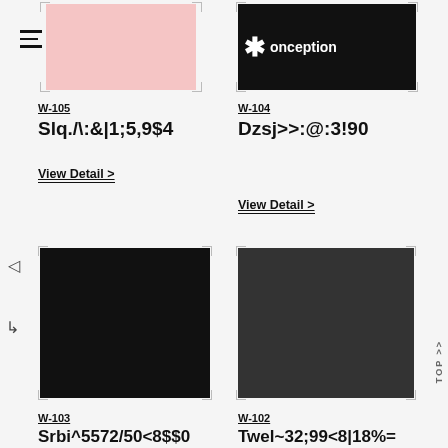[Figure (illustration): Top-left product card with pink rectangle image placeholder and hamburger menu icon]
W-105
Slq./\:&|1;5,9$4
View Detail >
[Figure (illustration): Top-right product card with black rectangle image placeholder showing asterisk icon and text 'conception']
W-104
Dzsj>>:@:3!90
View Detail >
[Figure (illustration): Bottom-left product card with black rectangle image and arrow/cursor icons on the left]
W-103
Srbi^5572/50<8$$04%$
View Project >
[Figure (illustration): Bottom-right product card with dark gray rectangle image placeholder]
W-102
Twel~32;99<8|18%=\:~|
View Project >